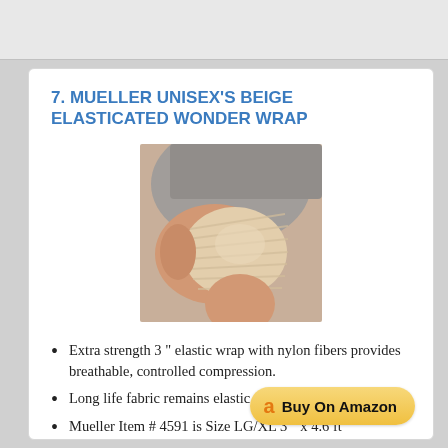7. MUELLER UNISEX'S BEIGE ELASTICATED WONDER WRAP
[Figure (photo): Photo of a knee wrapped with a beige elasticated bandage/wrap, person sitting with knee bent, wearing gray shorts]
Extra strength 3 " elastic wrap with nylon fibers provides breathable, controlled compression.
Long life fabric remains elastic.
Mueller Item # 4591 is Size LG/XL 3 " x 4.6 ft